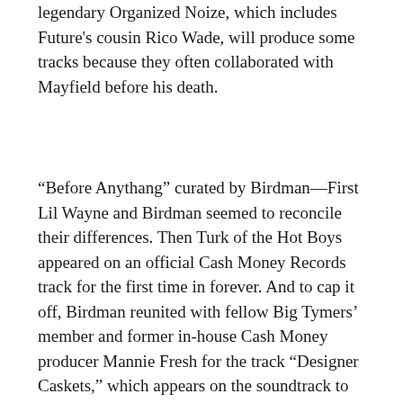legendary Organized Noize, which includes Future's cousin Rico Wade, will produce some tracks because they often collaborated with Mayfield before his death.
“Before Anythang” curated by Birdman—First Lil Wayne and Birdman seemed to reconcile their differences. Then Turk of the Hot Boys appeared on an official Cash Money Records track for the first time in forever. And to cap it off, Birdman reunited with fellow Big Tymers’ member and former in-house Cash Money producer Mannie Fresh for the track “Designer Caskets,” which appears on the soundtrack to the documentary, “Before Anythang.” However, anyone who follows Birdman can attest that he does not stay nostalgic for too long, always adapting to the new sounds of the day and the soundtrack for his Apple Music documentary is no different. The soundtrack features veterans from the Cash Money heyday, but also features current non-Cash Money superstars like Migos,